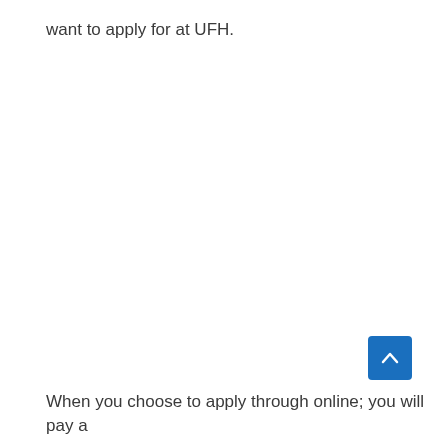want to apply for at UFH.
[Figure (other): Blue scroll-to-top button with upward chevron arrow]
When you choose to apply through online; you will pay a